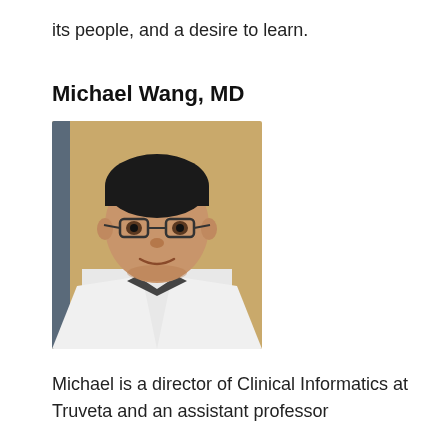its people, and a desire to learn.
Michael Wang, MD
[Figure (photo): Headshot photo of Michael Wang, MD, an Asian man wearing glasses and a white medical coat over a dark shirt, photographed against a warm tan/wood-toned background.]
Michael is a director of Clinical Informatics at Truveta and an assistant professor